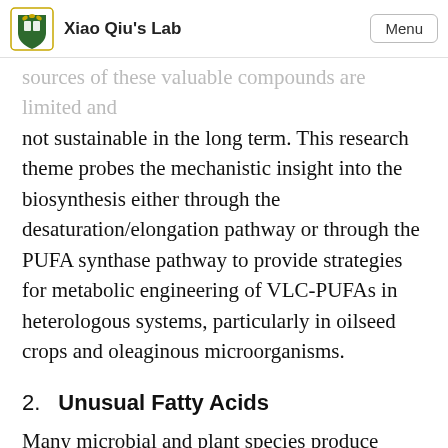Xiao Qiu's Lab
sources of these valuable compounds are limited and not sustainable in the long term. This research theme probes the mechanistic insight into the biosynthesis either through the desaturation/elongation pathway or through the PUFA synthase pathway to provide strategies for metabolic engineering of VLC-PUFAs in heterologous systems, particularly in oilseed crops and oleaginous microorganisms.
2.    Unusual Fatty Acids
Many microbial and plant species produce unusual fatty acids that differ in terms of chain length, position and number of unsaturated bonds, or possession of functional groups from the fatty acids commonly found in edible oils. The structural differences make these fatty acids very valuable for manufacturing of industrial products such as lubricants, functional